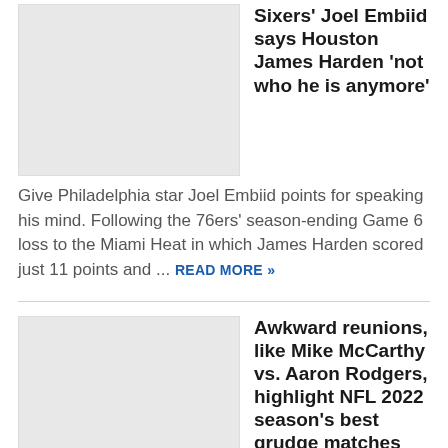[Figure (photo): Placeholder image for Sixers Joel Embiid article]
Sixers' Joel Embiid says Houston James Harden 'not who he is anymore'
Give Philadelphia star Joel Embiid points for speaking his mind. Following the 76ers' season-ending Game 6 loss to the Miami Heat in which James Harden scored just 11 points and ... READ MORE »
[Figure (photo): Placeholder image for NFL 2022 grudge matches article]
Awkward reunions, like Mike McCarthy vs. Aaron Rodgers, highlight NFL 2022 season's best grudge matches
The NFL released its full 2022 regular-season schedule on Thursday night with a number of ...